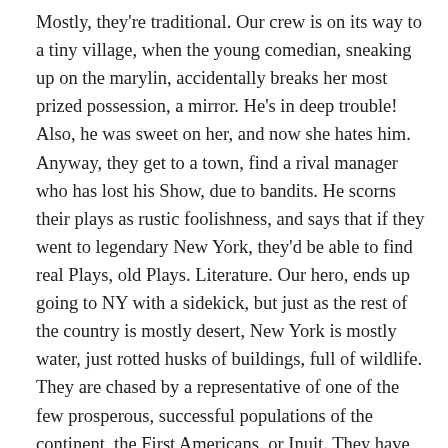Mostly, they're traditional. Our crew is on its way to a tiny village, when the young comedian, sneaking up on the marylin, accidentally breaks her most prized possession, a mirror. He's in deep trouble! Also, he was sweet on her, and now she hates him. Anyway, they get to a town, find a rival manager who has lost his Show, due to bandits. He scorns their plays as rustic foolishness, and says that if they went to legendary New York, they'd be able to find real Plays, old Plays. Literature. Our hero, ends up going to NY with a sidekick, but just as the rest of the country is mostly desert, New York is mostly water, just rotted husks of buildings, full of wildlife. They are chased by a representative of one of the few prosperous, successful populations of the continent, the First Americans, or Inuit. They have technology, and an Inuit aristocrat is on a hunting expedition in the hollow abandoned towers of NY. She sees our two heroes, and chases them into a building, where he finds stacks and stacks of rectangular